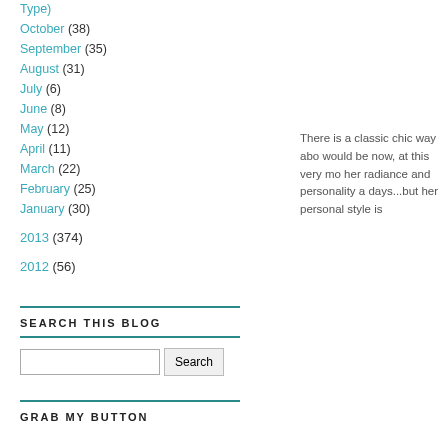Type)
October (38)
September (35)
August (31)
July (6)
June (8)
May (12)
April (11)
March (22)
February (25)
January (30)
2013 (374)
2012 (56)
There is a classic chic way abo would be now, at this very mo her radiance and personality a days...but her personal style is
SEARCH THIS BLOG
GRAB MY BUTTON